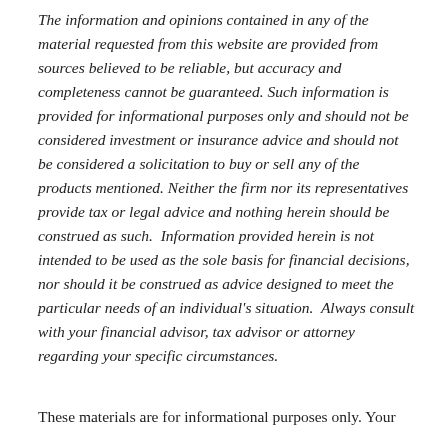The information and opinions contained in any of the material requested from this website are provided from sources believed to be reliable, but accuracy and completeness cannot be guaranteed. Such information is provided for informational purposes only and should not be considered investment or insurance advice and should not be considered a solicitation to buy or sell any of the products mentioned. Neither the firm nor its representatives provide tax or legal advice and nothing herein should be construed as such.  Information provided herein is not intended to be used as the sole basis for financial decisions, nor should it be construed as advice designed to meet the particular needs of an individual's situation.  Always consult with your financial advisor, tax advisor or attorney regarding your specific circumstances.
These materials are for informational purposes only. Your